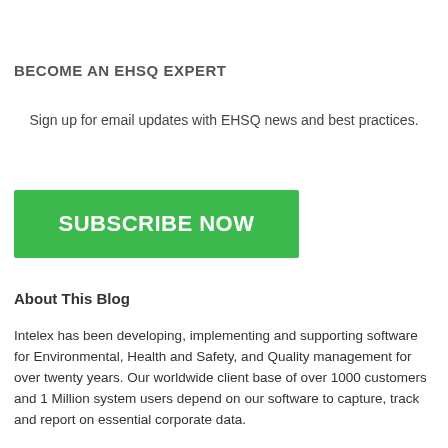BECOME AN EHSQ EXPERT
Sign up for email updates with EHSQ news and best practices.
[Figure (other): Green 'SUBSCRIBE NOW' button]
About This Blog
Intelex has been developing, implementing and supporting software for Environmental, Health and Safety, and Quality management for over twenty years. Our worldwide client base of over 1000 customers and 1 Million system users depend on our software to capture, track and report on essential corporate data.